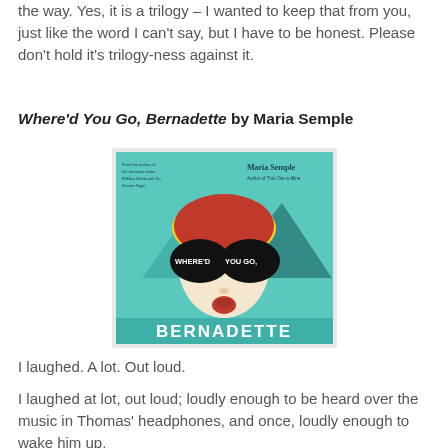the way. Yes, it is a trilogy – I wanted to keep that from you, just like the word I can't say, but I have to be honest. Please don't hold it's trilogy-ness against it.
Where'd You Go, Bernadette by Maria Semple
[Figure (photo): Book cover of 'Where'd You Go, Bernadette' by Maria Semple. Teal background with illustrated face of a woman with red hair, wearing large black sunglasses with 'WHERE'D YOU GO,' text on the lenses. Large text 'BERNADETTE' at bottom.]
I laughed. A lot. Out loud.
I laughed at lot, out loud; loudly enough to be heard over the music in Thomas' headphones, and once, loudly enough to wake him up.